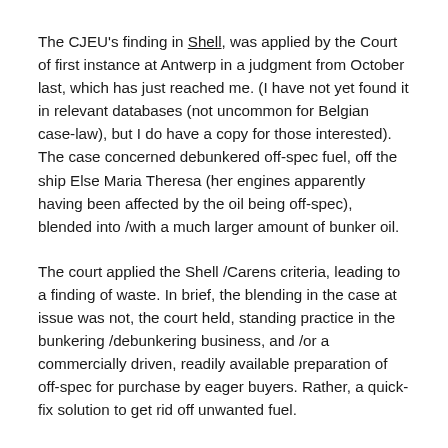The CJEU's finding in Shell, was applied by the Court of first instance at Antwerp in a judgment from October last, which has just reached me. (I have not yet found it in relevant databases (not uncommon for Belgian case-law), but I do have a copy for those interested). The case concerned debunkered off-spec fuel, off the ship Else Maria Theresa (her engines apparently having been affected by the oil being off-spec), blended into /with a much larger amount of bunker oil.
The court applied the Shell /Carens criteria, leading to a finding of waste. In brief, the blending in the case at issue was not, the court held, standing practice in the bunkering /debunkering business, and /or a commercially driven, readily available preparation of off-spec for purchase by eager buyers. Rather, a quick-fix solution to get rid off unwanted fuel.